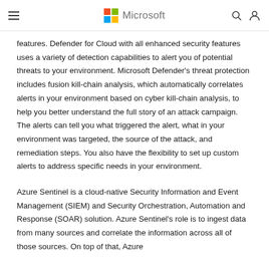Microsoft
features. Defender for Cloud with all enhanced security features uses a variety of detection capabilities to alert you of potential threats to your environment. Microsoft Defender's threat protection includes fusion kill-chain analysis, which automatically correlates alerts in your environment based on cyber kill-chain analysis, to help you better understand the full story of an attack campaign. The alerts can tell you what triggered the alert, what in your environment was targeted, the source of the attack, and remediation steps. You also have the flexibility to set up custom alerts to address specific needs in your environment.
Azure Sentinel is a cloud-native Security Information and Event Management (SIEM) and Security Orchestration, Automation and Response (SOAR) solution. Azure Sentinel's role is to ingest data from many sources and correlate the information across all of those sources. On top of that, Azure